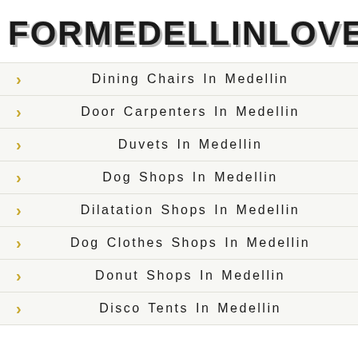FORMEDELLINLOVERS
Dining Chairs In Medellin
Door Carpenters In Medellin
Duvets In Medellin
Dog Shops In Medellin
Dilatation Shops In Medellin
Dog Clothes Shops In Medellin
Donut Shops In Medellin
Disco Tents In Medellin